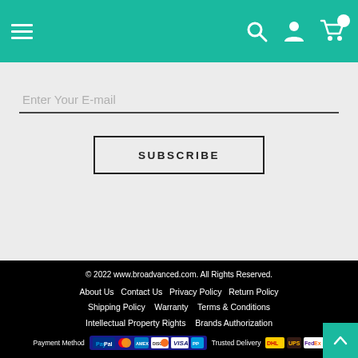Navigation header with hamburger menu, search, account, and cart icons
Enter Your E-mail
SUBSCRIBE
© 2022 www.broadvanced.com. All Rights Reserved. About Us  Contact Us  Privacy Policy  Return Policy  Shipping Policy  Warranty  Terms & Conditions  Intellectual Property Rights  Brands Authorization  Payment Method [PayPal, Mastercard, Amex, Discover, Visa, PayPal2]  Trusted Delivery [DHL, UPS, FedEx]